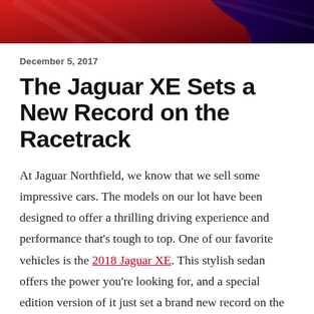[Figure (photo): Header image showing a red Jaguar car with dark purple/red gradient background and diagonal light streaks]
December 5, 2017
The Jaguar XE Sets a New Record on the Racetrack
At Jaguar Northfield, we know that we sell some impressive cars. The models on our lot have been designed to offer a thrilling driving experience and performance that’s tough to top. One of our favorite vehicles is the 2018 Jaguar XE. This stylish sedan offers the power you’re looking for, and a special edition version of it just set a brand new record on the Nurburgring.
The Nurburgring is where all of the top...